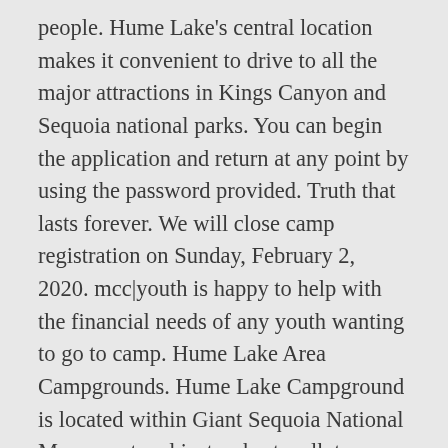people. Hume Lake's central location makes it convenient to drive to all the major attractions in Kings Canyon and Sequoia national parks. You can begin the application and return at any point by using the password provided. Truth that lasts forever. We will close camp registration on Sunday, February 2, 2020. mcc|youth is happy to help with the financial needs of any youth wanting to go to camp. Hume Lake Area Campgrounds. Hume Lake Campground is located within Giant Sequoia National Monument and just a short walk to Hume Lake. The 365 acre camp can host up to 3,000 people at one time and hosts more than 40,000 annually. Christian living is decision making. Our website uses cookies to help us